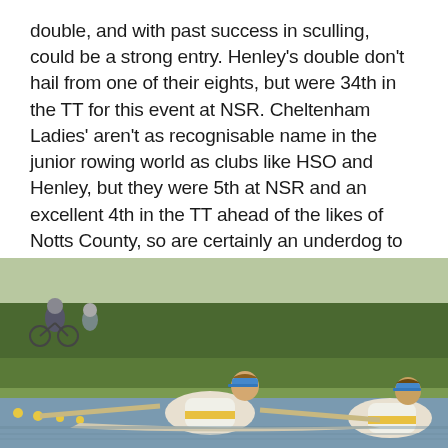double, and with past success in sculling, could be a strong entry. Henley's double don't hail from one of their eights, but were 34th in the TT for this event at NSR. Cheltenham Ladies' aren't as recognisable name in the junior rowing world as clubs like HSO and Henley, but they were 5th at NSR and an excellent 4th in the TT ahead of the likes of Notts County, so are certainly an underdog to look out for. Hinksey also raced at NSR, finishing in the middle of the B final.
[Figure (photo): Two female rowers in a double scull on a river, wearing blue visors and white/yellow uniforms. In the background a person on a bicycle is visible on the bank, with green grass and trees behind.]